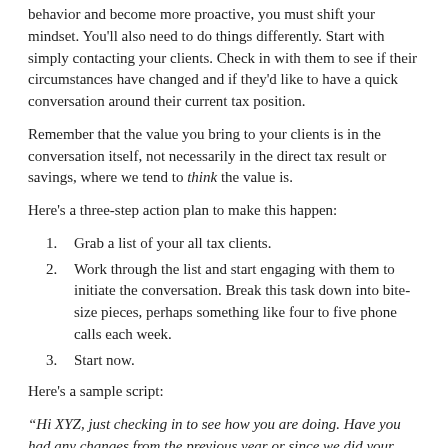behavior and become more proactive, you must shift your mindset. You'll also need to do things differently. Start with simply contacting your clients. Check in with them to see if their circumstances have changed and if they'd like to have a quick conversation around their current tax position.
Remember that the value you bring to your clients is in the conversation itself, not necessarily in the direct tax result or savings, where we tend to think the value is.
Here's a three-step action plan to make this happen:
Grab a list of your all tax clients.
Work through the list and start engaging with them to initiate the conversation. Break this task down into bite-size pieces, perhaps something like four to five phone calls each week.
Start now.
Here's a sample script:
“Hi XYZ, just checking in to see how you are doing. Have you had any changes from the previous year or since we did your 20XX tax work? Is there anything you're concerned with, particularly around your current tax position, structure or other areas?”